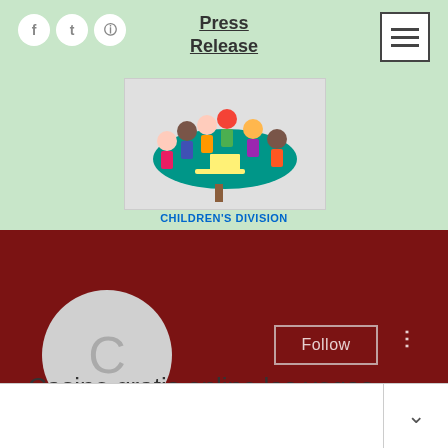[Figure (screenshot): Website header with mint-green background, social media icons (Facebook, Twitter, Instagram), Press Release navigation link, hamburger menu icon, children's division logo illustration showing cartoon children around a table, and CHILDREN'S DIVISION label in blue]
Casino gratis online las vegas
0 Followers • 0 Following